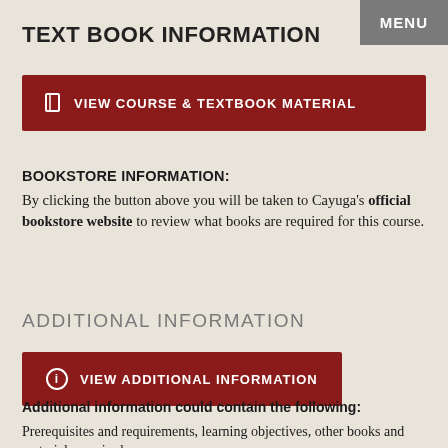TEXT BOOK INFORMATION
[Figure (other): MENU button - gray rectangle top right]
[Figure (other): Dark red button: VIEW COURSE & TEXTBOOK MATERIAL with book icon]
BOOKSTORE INFORMATION:
By clicking the button above you will be taken to Cayuga's official bookstore website to review what books are required for this course.
ADDITIONAL INFORMATION
[Figure (other): Dark red button: VIEW ADDITIONAL INFORMATION with info icon]
Additional information could contain the following:
Prerequisites and requirements, learning objectives, other books and materials required, or